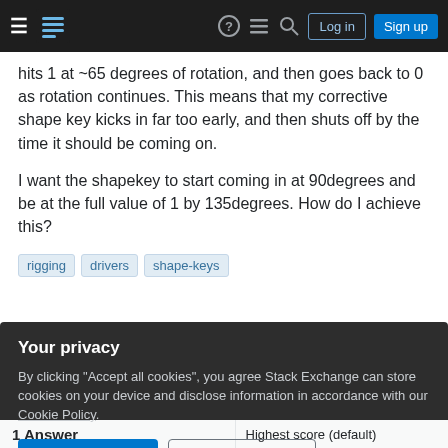Stack Exchange navigation bar with hamburger menu, logo, help, chat, search icons, Log in and Sign up buttons
hits 1 at ~65 degrees of rotation, and then goes back to 0 as rotation continues. This means that my corrective shape key kicks in far too early, and then shuts off by the time it should be coming on.
I want the shapekey to start coming in at 90degrees and be at the full value of 1 by 135degrees. How do I achieve this?
rigging
drivers
shape-keys
Your privacy
By clicking "Accept all cookies", you agree Stack Exchange can store cookies on your device and disclose information in accordance with our Cookie Policy.
Accept all cookies | Customize settings
1 Answer
Highest score (default)